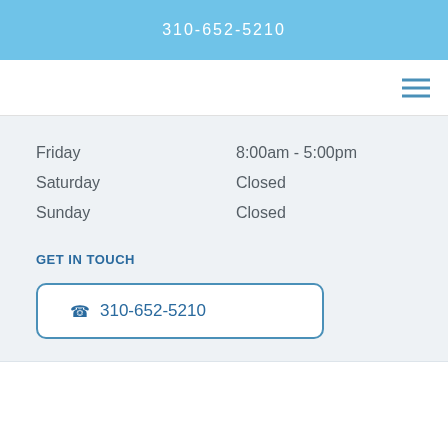310-652-5210
| Friday | 8:00am - 5:00pm |
| Saturday | Closed |
| Sunday | Closed |
GET IN TOUCH
310-652-5210